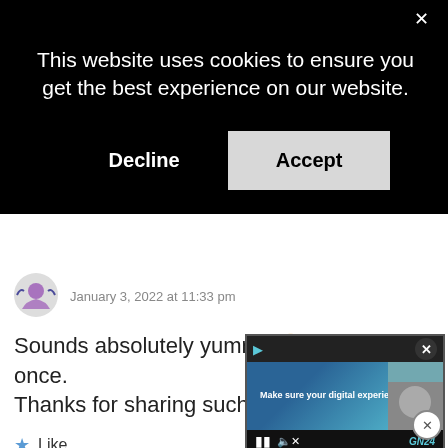[Figure (screenshot): Cookie consent banner overlay on black background with X close button, message text, Decline and Accept buttons]
January 3, 2022 at 11:33 pm
Sounds absolutely yummy 😊 I will try it once. Thanks for sharing such a nice recipe.
Like
REPLY
[Figure (screenshot): Floating video widget showing 'Make sure your digital experiences give' with GN24 branding, pause and mute controls]